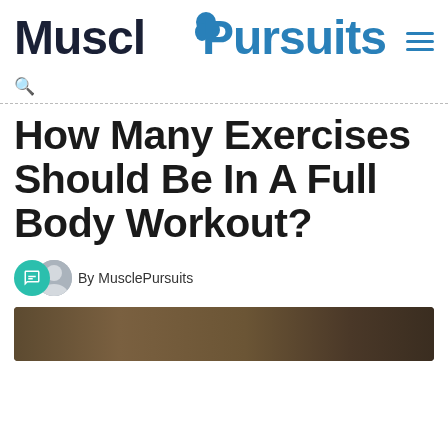MusclePursuits
How Many Exercises Should Be In A Full Body Workout?
By MusclePursuits
[Figure (photo): Bottom portion of a fitness/workout related photo, dark tones showing what appears to be a gym or exercise setting]